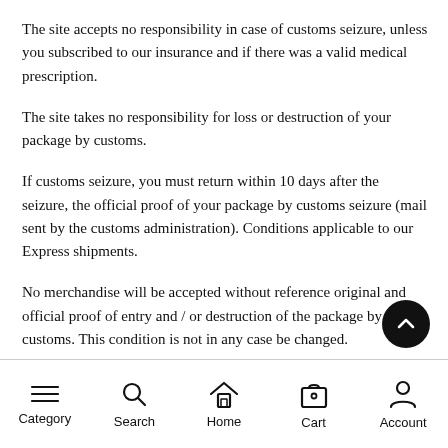The site accepts no responsibility in case of customs seizure, unless you subscribed to our insurance and if there was a valid medical prescription.
The site takes no responsibility for loss or destruction of your package by customs.
If customs seizure, you must return within 10 days after the seizure, the official proof of your package by customs seizure (mail sent by the customs administration). Conditions applicable to our Express shipments.
No merchandise will be accepted without reference original and official proof of entry and / or destruction of the package by customs. This condition is not in any case be changed.
Category  Search  Home  Cart  Account